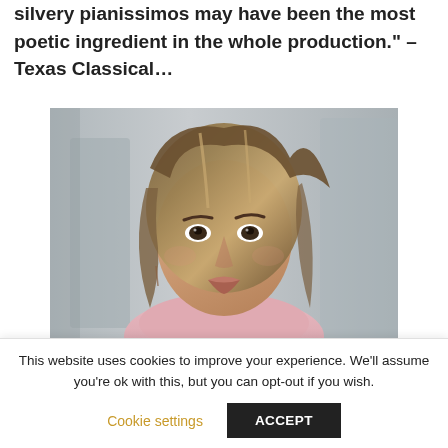silvery pianissimos may have been the most poetic ingredient in the whole production." – Texas Classical…
[Figure (photo): Portrait photo of a young woman with long brown/blonde highlighted hair, wearing a pink top, looking slightly upward, with a blurred grey urban background.]
This website uses cookies to improve your experience. We'll assume you're ok with this, but you can opt-out if you wish.
Cookie settings
ACCEPT